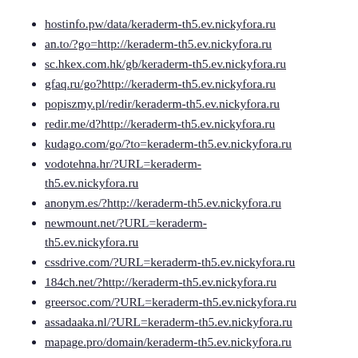hostinfo.pw/data/keraderm-th5.ev.nickyfora.ru
an.to/?go=http://keraderm-th5.ev.nickyfora.ru
sc.hkex.com.hk/gb/keraderm-th5.ev.nickyfora.ru
gfaq.ru/go?http://keraderm-th5.ev.nickyfora.ru
popiszmy.pl/redir/keraderm-th5.ev.nickyfora.ru
redir.me/d?http://keraderm-th5.ev.nickyfora.ru
kudago.com/go/?to=keraderm-th5.ev.nickyfora.ru
vodotehna.hr/?URL=keraderm-th5.ev.nickyfora.ru
anonym.es/?http://keraderm-th5.ev.nickyfora.ru
newmount.net/?URL=keraderm-th5.ev.nickyfora.ru
cssdrive.com/?URL=keraderm-th5.ev.nickyfora.ru
184ch.net/?http://keraderm-th5.ev.nickyfora.ru
greersoc.com/?URL=keraderm-th5.ev.nickyfora.ru
assadaaka.nl/?URL=keraderm-th5.ev.nickyfora.ru
mapage.pro/domain/keraderm-th5.ev.nickyfora.ru
www.drugs.ie/?URL=keraderm-th5.ev.nickyfora.ru